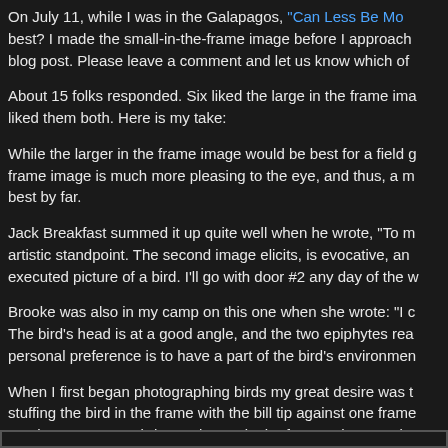On July 11, while I was in the Galapagos, "Can Less Be Mo... best? I made the small-in-the-frame image before I approach... blog post. Please leave a comment and let us know which of...
About 15 folks responded. Six liked the large in the frame ima... liked them both. Here is my take:
While the larger in the frame image would be best for a field g... frame image is much more pleasing to the eye, and thus, a m... best by far.
Jack Breakfast summed it up quite well when he wrote, "To m... artistic standpoint. The second image elicits, is evocative, and... executed picture of a bird. I'll go with door #2 any day of the w...
Brooke was also in my camp on this one when she wrote: "I c... The bird's head is at a good angle, and the two epiphytes rea... personal preference is to have a part of the bird's environmen...
When I first began photographing birds my great desire was t... stuffing the bird in the frame with the bill tip against one frame... not the way to go. Birds need room in the frame. They need t... That is why we place the birds back in the frame when workin... I suggest that the longest dimension of the bird should neve...
[Figure (other): Bottom border box element]